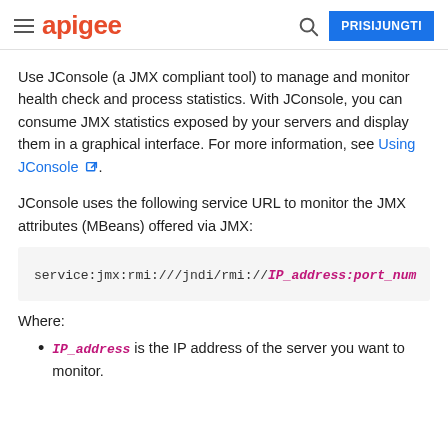apigee | PRISIJUNGTI
Use JConsole (a JMX compliant tool) to manage and monitor health check and process statistics. With JConsole, you can consume JMX statistics exposed by your servers and display them in a graphical interface. For more information, see Using JConsole.
JConsole uses the following service URL to monitor the JMX attributes (MBeans) offered via JMX:
service:jmx:rmi:///jndi/rmi://IP_address:port_num
Where:
IP_address is the IP address of the server you want to monitor.